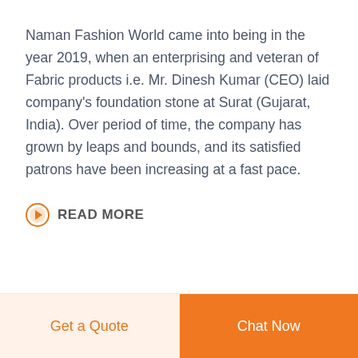Naman Fashion World came into being in the year 2019, when an enterprising and veteran of Fabric products i.e. Mr. Dinesh Kumar (CEO) laid company's foundation stone at Surat (Gujarat, India). Over period of time, the company has grown by leaps and bounds, and its satisfied patrons have been increasing at a fast pace.
READ MORE